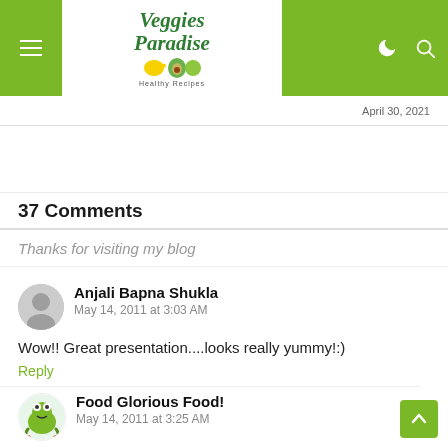Veggies Paradise
April 30, 2021
37 Comments
Thanks for visiting my blog
Anjali Bapna Shukla
May 14, 2011 at 3:03 AM
Wow!! Great presentation....looks really yummy!:)
Reply
Food Glorious Food!
May 14, 2011 at 3:25 AM